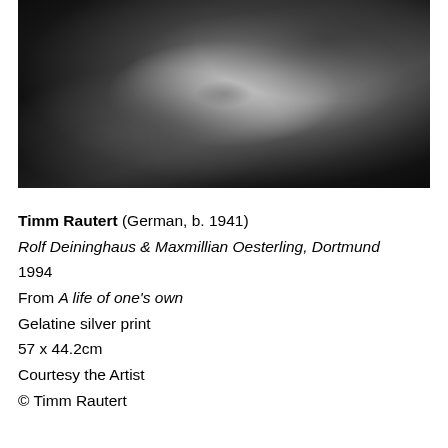[Figure (photo): Black and white photograph showing figures lying down, close-up of bodies and hands]
Timm Rautert (German, b. 1941)
Rolf Deininghaus & Maxmillian Oesterling, Dortmund
1994
From A life of one's own
Gelatine silver print
57 x 44.2cm
Courtesy the Artist
© Timm Rautert